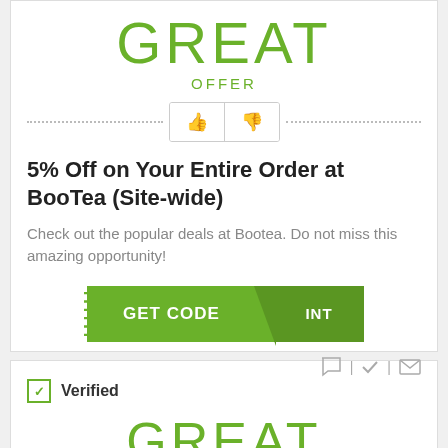GREAT
OFFER
[Figure (other): Thumbs up and thumbs down rating buttons with dotted divider lines on each side]
5% Off on Your Entire Order at BooTea (Site-wide)
Check out the popular deals at Bootea. Do not miss this amazing opportunity!
[Figure (other): GET CODE button in green with a reveal panel showing partial text 'INT' separated by a dashed border and triangle]
[Figure (other): Row of icons: chat bubble, checkmark, envelope, separated by vertical bars]
Verified
GREAT